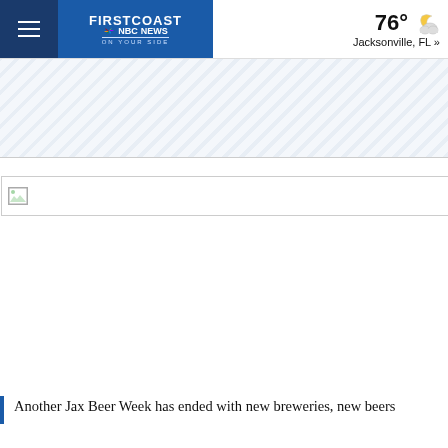FIRSTCOAST NEWS | 76° Jacksonville, FL »
[Figure (other): Advertisement banner with diagonal stripe pattern]
[Figure (photo): Broken/unloaded image placeholder for article photo]
Another Jax Beer Week has ended with new breweries, new beers